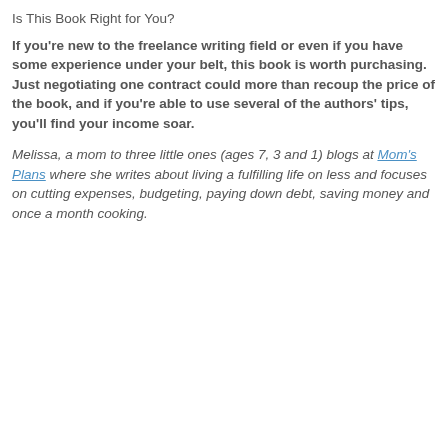Is This Book Right for You?
If you're new to the freelance writing field or even if you have some experience under your belt, this book is worth purchasing. Just negotiating one contract could more than recoup the price of the book, and if you're able to use several of the authors' tips, you'll find your income soar.
Melissa, a mom to three little ones (ages 7, 3 and 1) blogs at Mom's Plans where she writes about living a fulfilling life on less and focuses on cutting expenses, budgeting, paying down debt, saving money and once a month cooking.